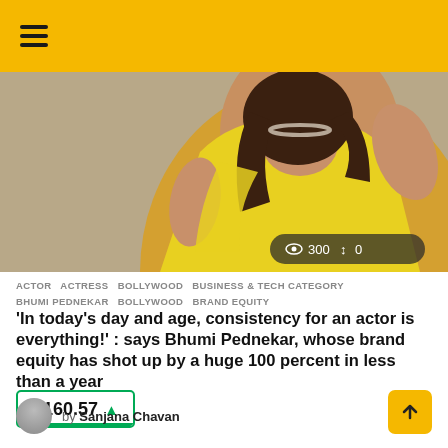Navigation bar with hamburger menu and dark mode toggle
[Figure (photo): Photo of Bhumi Pednekar in yellow outfit with stats overlay showing 300 views and 0 shares]
ACTOR  ACTRESS  BOLLYWOOD  BUSINESS & TECH CATEGORY  BHUMI PEDNEKAR  BOLLYWOOD  BRAND EQUITY
'In today’s day and age, consistency for an actor is everything!' : says Bhumi Pednekar, whose brand equity has shot up by a huge 100 percent in less than a year
₹160.57 ▲
by Sanjana Chavan